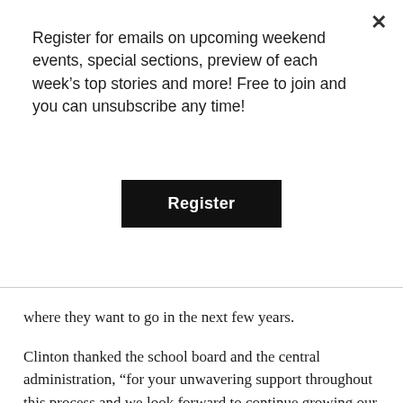Register for emails on upcoming weekend events, special sections, preview of each week's top stories and more! Free to join and you can unsubscribe any time!
Register
where they want to go in the next few years.
Clinton thanked the school board and the central administration, “for your unwavering support throughout this process and we look forward to continue growing our programs yo meet the needs of all of our students.”
Clinton pointed out that her school was initially not eligible, “because we did meet all the requirements, in particular the technology position that we added back into the middle school. This has been a rebirth of the Middle School if you will; It’s a continued commitment to moving our district and our building forward to meeting